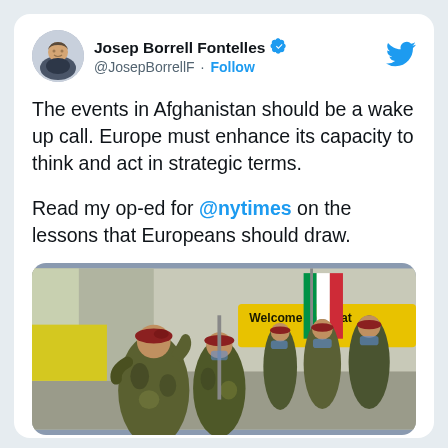Josep Borrell Fontelles @JosepBorrellF · Follow
The events in Afghanistan should be a wake up call. Europe must enhance its capacity to think and act in strategic terms.

Read my op-ed for @nytimes on the lessons that Europeans should draw.
[Figure (photo): Military personnel in camouflage uniforms and red berets saluting, with an Italian flag and a yellow sign reading 'Welcome to Herat' visible in the background.]